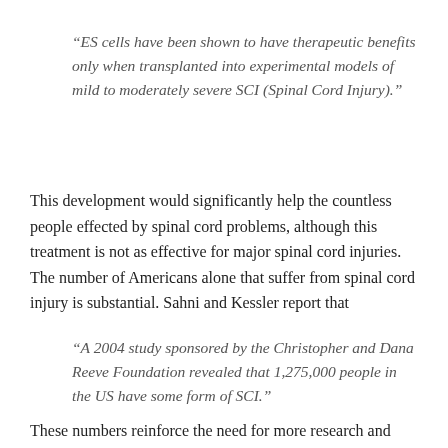“ES cells have been shown to have therapeutic benefits only when transplanted into experimental models of mild to moderately severe SCI (Spinal Cord Injury).”
This development would significantly help the countless people effected by spinal cord problems, although this treatment is not as effective for major spinal cord injuries. The number of Americans alone that suffer from spinal cord injury is substantial. Sahni and Kessler report that
“A 2004 study sponsored by the Christopher and Dana Reeve Foundation revealed that 1,275,000 people in the US have some form of SCI.”
These numbers reinforce the need for more research and